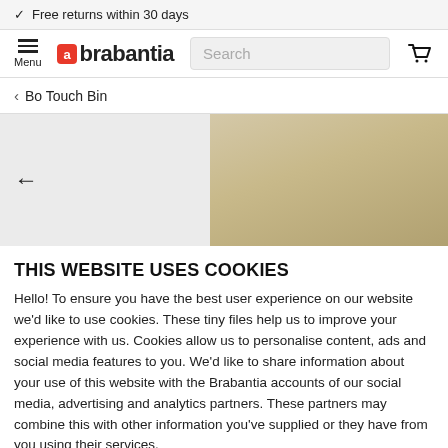✓ Free returns within 30 days
[Figure (screenshot): Brabantia website navigation bar with hamburger menu, Brabantia logo, search box, and cart icon]
‹ Bo Touch Bin
[Figure (photo): Tan/gold colored Bo Touch Bin product image, partially visible, with back arrow navigation]
THIS WEBSITE USES COOKIES
Hello! To ensure you have the best user experience on our website we'd like to use cookies. These tiny files help us to improve your experience with us. Cookies allow us to personalise content, ads and social media features to you. We'd like to share information about your use of this website with the Brabantia accounts of our social media, advertising and analytics partners. These partners may combine this with other information you've supplied or they have from you using their services.
Settings  Accept